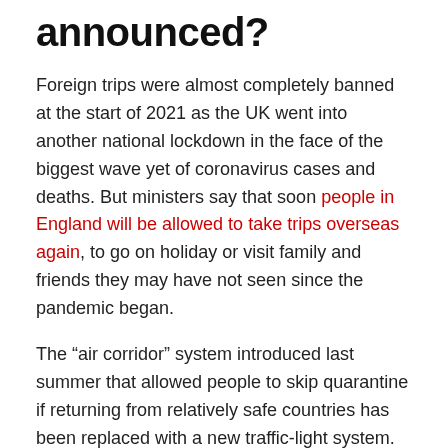announced?
Foreign trips were almost completely banned at the start of 2021 as the UK went into another national lockdown in the face of the biggest wave yet of coronavirus cases and deaths. But ministers say that soon people in England will be allowed to take trips overseas again, to go on holiday or visit family and friends they may have not seen since the pandemic began.
The “air corridor” system introduced last summer that allowed people to skip quarantine if returning from relatively safe countries has been replaced with a new traffic-light system. Green, amber and red lists have been created, with all countries graded depending on factors